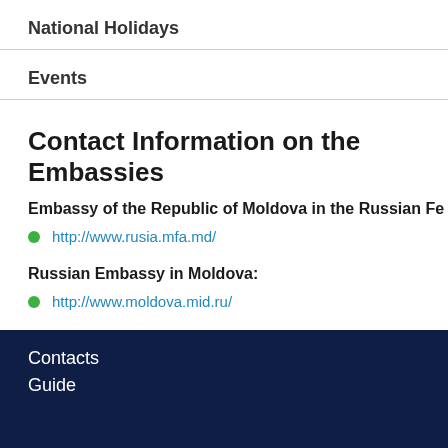National Holidays
Events
Contact Information on the Embassies
Embassy of the Republic of Moldova in the Russian Fe
http://www.rusia.mfa.md/
Russian Embassy in Moldova:
http://www.moldova.mid.ru/
Contacts
Guide